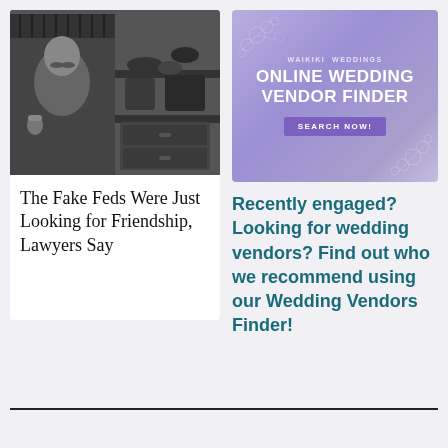[Figure (photo): Black and white composite photo showing a man with a mustache giving a thumbs-up gesture (left panel) and a closet/drawer with shoes and clothing (right panel)]
The Fake Feds Were Just Looking for Friendship, Lawyers Say
[Figure (infographic): Purple wedding vendor finder advertisement banner with text: WEDDINGS / ONLINE WEDDING VENDOR FINDER / SEARCH NOW!]
Recently engaged? Looking for wedding vendors? Find out who we recommend using our Wedding Vendors Finder!